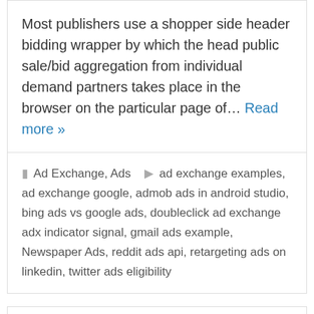Most publishers use a shopper side header bidding wrapper by which the head public sale/bid aggregation from individual demand partners takes place in the browser on the particular page of... Read more »
Ad Exchange, Ads  ad exchange examples, ad exchange google, admob ads in android studio, bing ads vs google ads, doubleclick ad exchange adx indicator signal, gmail ads example, Newspaper Ads, reddit ads api, retargeting ads on linkedin, twitter ads eligibility
Media. net Review the Best Alternative to Google AdSense